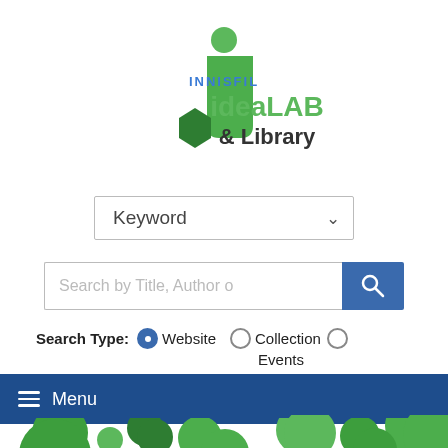[Figure (logo): Innisfil ideaLAB & Library logo with green stylized 'i' and hexagonal shapes]
Keyword
Search by Title, Author or...
Search Type: ● Website ○ Collection ○ Events
≡ Menu
Arts